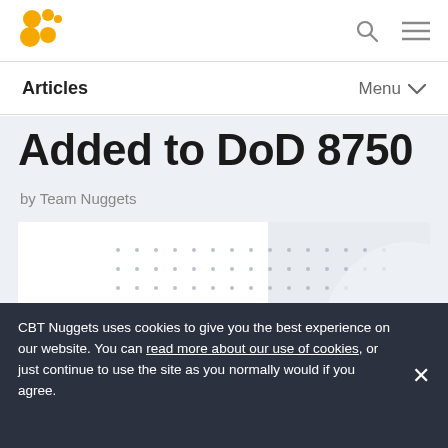CBT Nuggets logo, search icon, menu icon
Articles  Menu
Added to DoD 8750
by Team Nuggets
[Figure (illustration): Decorative dot-pattern banner image with a blue star icon at the bottom left]
CBT Nuggets uses cookies to give you the best experience on our website. You can read more about our use of cookies, or just continue to use the site as you normally would if you agree.